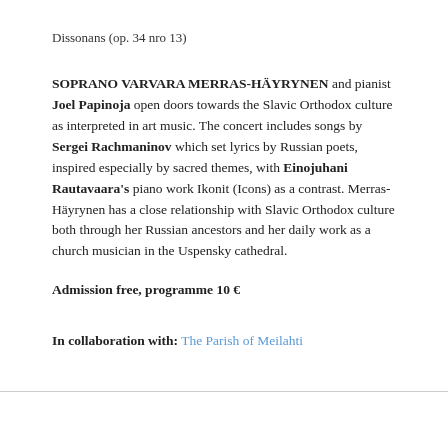Dissonans (op. 34 nro 13)
SOPRANO VARVARA MERRAS-HÄYRYNEN and pianist Joel Papinoja open doors towards the Slavic Orthodox culture as interpreted in art music. The concert includes songs by Sergei Rachmaninov which set lyrics by Russian poets, inspired especially by sacred themes, with Einojuhani Rautavaara's piano work Ikonit (Icons) as a contrast. Merras-Häyrynen has a close relationship with Slavic Orthodox culture both through her Russian ancestors and her daily work as a church musician in the Uspensky cathedral.
Admission free, programme 10 €
In collaboration with: The Parish of Meilahti